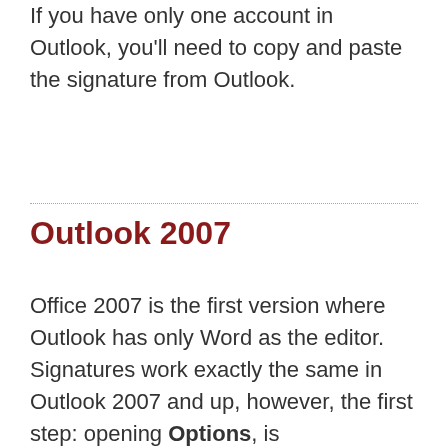If you have only one account in Outlook, you'll need to copy and paste the signature from Outlook.
Outlook 2007
Office 2007 is the first version where Outlook has only Word as the editor. Signatures work exactly the same in Outlook 2007 and up, however, the first step: opening Options, is